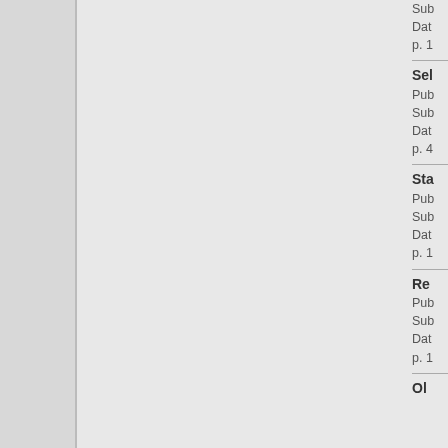Sub
Dat
p. 1
Sel
Pub
Sub
Dat
p. 4
Sta
Pub
Sub
Dat
p. 1
Re
Pub
Sub
Dat
p. 1
Ol